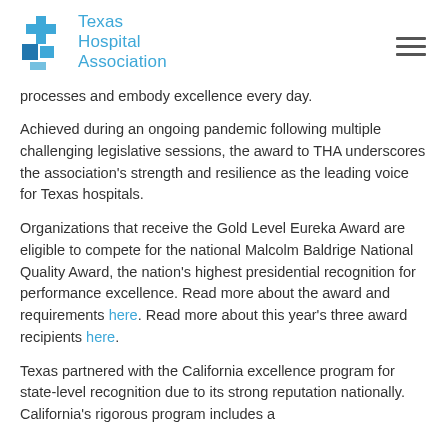Texas Hospital Association
processes and embody excellence every day.
Achieved during an ongoing pandemic following multiple challenging legislative sessions, the award to THA underscores the association's strength and resilience as the leading voice for Texas hospitals.
Organizations that receive the Gold Level Eureka Award are eligible to compete for the national Malcolm Baldrige National Quality Award, the nation's highest presidential recognition for performance excellence. Read more about the award and requirements here. Read more about this year's three award recipients here.
Texas partnered with the California excellence program for state-level recognition due to its strong reputation nationally. California's rigorous program includes a